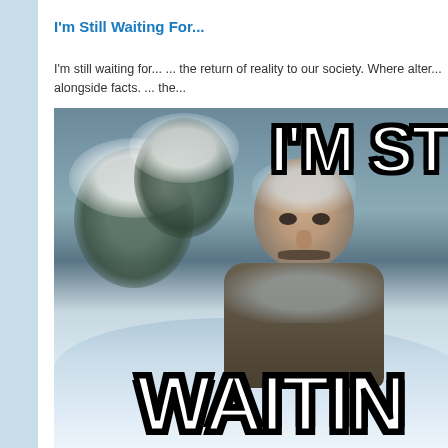I'm Still Waiting For...
I'm still waiting for... ... the return of reality to our society.  Where alter... alongside facts. ... the...
[Figure (photo): Meme image of a man with frost-covered face and hair standing in a snowy winter scene. White bold Impact font text reads 'I'M STI' at the top right and 'WAITIN' at the bottom, forming 'I'M STILL WAITING' with black outline stroke, referencing the blog post title.]